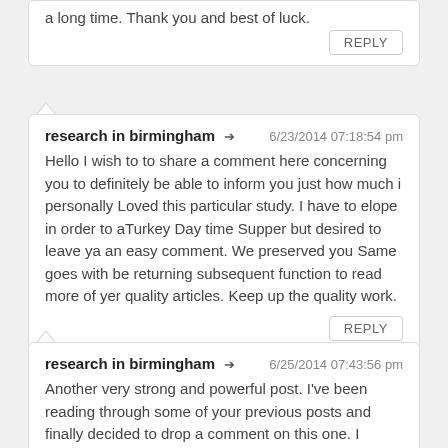a long time. Thank you and best of luck.
REPLY
research in birmingham ➔  6/23/2014 07:18:54 pm
Hello I wish to to share a comment here concerning you to definitely be able to inform you just how much i personally Loved this particular study. I have to elope in order to aTurkey Day time Supper but desired to leave ya an easy comment. We preserved you Same goes with be returning subsequent function to read more of yer quality articles. Keep up the quality work.
REPLY
research in birmingham ➔  6/25/2014 07:43:56 pm
Another very strong and powerful post. I've been reading through some of your previous posts and finally decided to drop a comment on this one. I signed up for your newsletter, so please keep up the informative posts!
REPLY